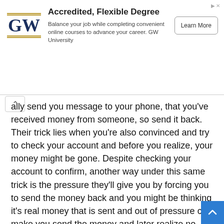[Figure (other): GW University advertisement banner with GW logo, title 'Accredited, Flexible Degree', body text, and a 'Learn More' button]
ally send you message to your phone, that you've received money from someone, so send it back. Their trick lies when you're also convinced and try to check your account and before you realize, your money might be gone. Despite checking your account to confirm, another way under this same trick is the pressure they'll give you by forcing you to send the money back and you might be thinking it's real money that is sent and out of pressure can make you send the money and later realize no money came into your account.
2. They normally come with fake phones and tell you to send money to a number for them after placing the phones on your counter. They behave as if they are very busy. If you play to their tricks, you are defrauded